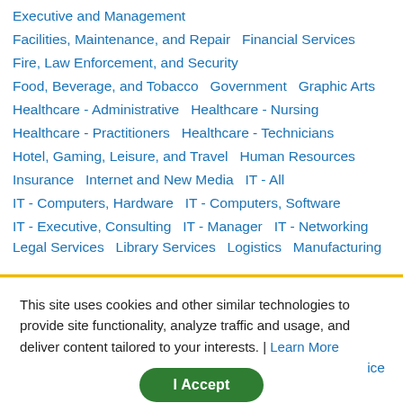Executive and Management
Facilities, Maintenance, and Repair   Financial Services
Fire, Law Enforcement, and Security
Food, Beverage, and Tobacco   Government   Graphic Arts
Healthcare - Administrative   Healthcare - Nursing
Healthcare - Practitioners   Healthcare - Technicians
Hotel, Gaming, Leisure, and Travel   Human Resources
Insurance   Internet and New Media   IT - All
IT - Computers, Hardware   IT - Computers, Software
IT - Executive, Consulting   IT - Manager   IT - Networking
Legal Services   Library Services   Logistics   Manufacturing
This site uses cookies and other similar technologies to provide site functionality, analyze traffic and usage, and deliver content tailored to your interests. | Learn More
I Accept